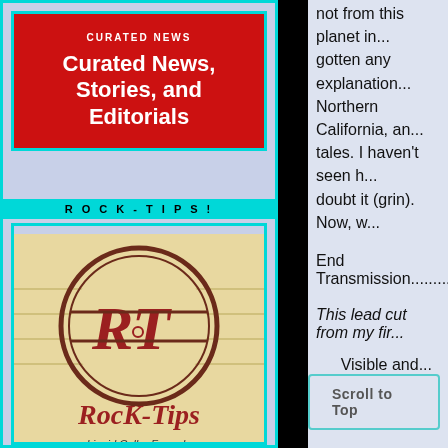[Figure (logo): Red banner with white bold text reading 'Curated News, Stories, and Editorials' with a small subtitle above it]
ROCK-TIPS!
[Figure (logo): Rock-Tips logo: circular emblem with R and T letters in red on cream/tan background, with 'RocK-Tips' text in bold red below and partial text 'Liquid Collar Formula' at bottom]
not from this planet in... gotten any explanation... Northern California, an... tales. I haven't seen h... doubt it (grin). Now, w...
End Transmission.........
This lead cut from my fir...
Visible and...
Scroll to Top